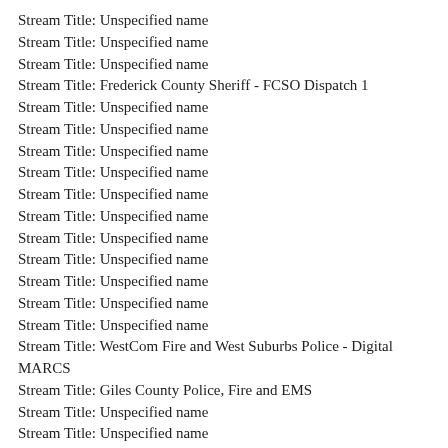Stream Title: Unspecified name
Stream Title: Unspecified name
Stream Title: Unspecified name
Stream Title: Frederick County Sheriff - FCSO Dispatch 1
Stream Title: Unspecified name
Stream Title: Unspecified name
Stream Title: Unspecified name
Stream Title: Unspecified name
Stream Title: Unspecified name
Stream Title: Unspecified name
Stream Title: Unspecified name
Stream Title: Unspecified name
Stream Title: Unspecified name
Stream Title: Unspecified name
Stream Title: Unspecified name
Stream Title: WestCom Fire and West Suburbs Police - Digital MARCS
Stream Title: Giles County Police, Fire and EMS
Stream Title: Unspecified name
Stream Title: Unspecified name
Stream Title: Unspecified name
Stream Title: Unspecified name
Stream Title: Paulding County Sheriff and Fire
Stream Title: Unspecified name
Stream Title: Unspecified name